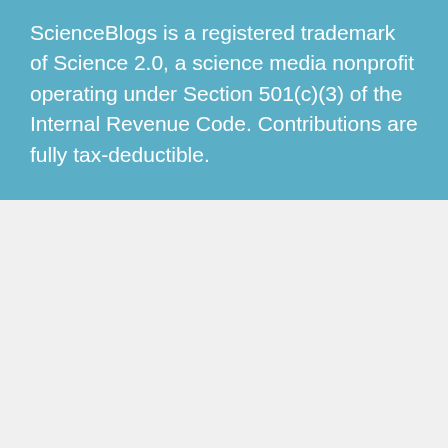ScienceBlogs is a registered trademark of Science 2.0, a science media nonprofit operating under Section 501(c)(3) of the Internal Revenue Code. Contributions are fully tax-deductible.